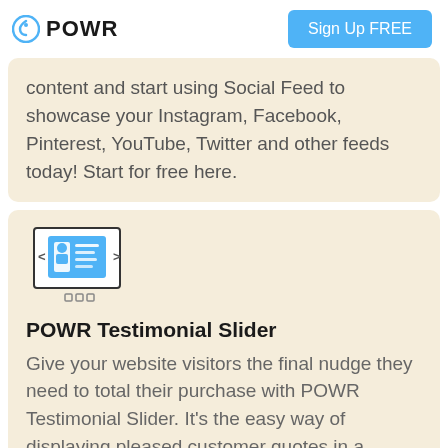POWR | Sign Up FREE
content and start using Social Feed to showcase your Instagram, Facebook, Pinterest, YouTube, Twitter and other feeds today! Start for free here.
[Figure (illustration): POWR Testimonial Slider icon: a slider UI widget with navigation arrows, a card showing a person and text lines, and three navigation dots below]
POWR Testimonial Slider
Give your website visitors the final nudge they need to total their purchase with POWR Testimonial Slider. It's the easy way of displaying pleased customer quotes in a